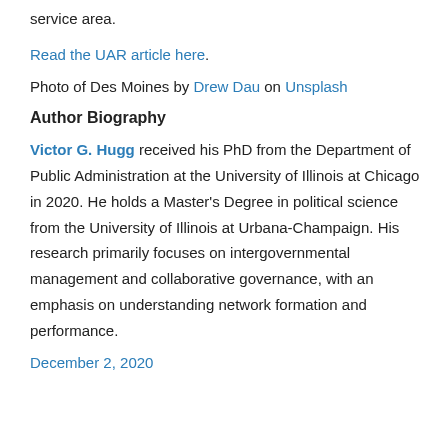service area.
Read the UAR article here.
Photo of Des Moines by Drew Dau on Unsplash
Author Biography
Victor G. Hugg received his PhD from the Department of Public Administration at the University of Illinois at Chicago in 2020. He holds a Master's Degree in political science from the University of Illinois at Urbana-Champaign. His research primarily focuses on intergovernmental management and collaborative governance, with an emphasis on understanding network formation and performance.
December 2, 2020